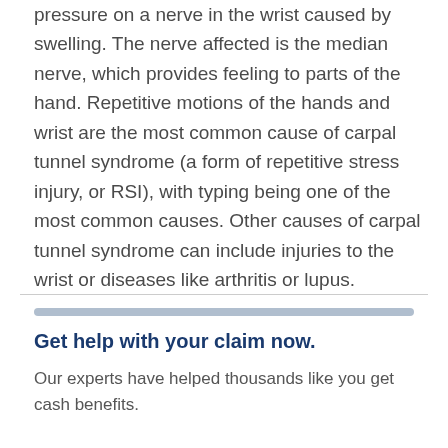pressure on a nerve in the wrist caused by swelling. The nerve affected is the median nerve, which provides feeling to parts of the hand. Repetitive motions of the hands and wrist are the most common cause of carpal tunnel syndrome (a form of repetitive stress injury, or RSI), with typing being one of the most common causes. Other causes of carpal tunnel syndrome can include injuries to the wrist or diseases like arthritis or lupus.
Get help with your claim now.
Our experts have helped thousands like you get cash benefits.